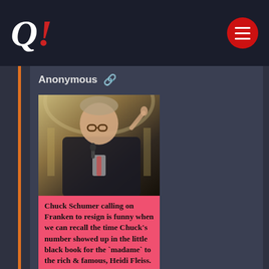Q! (logo with menu button)
Anonymous 🔗
[Figure (photo): Photo of Chuck Schumer at a podium speaking, with a pink caption overlay reading: Chuck Schumer calling on Franken to resign is funny when we can recall the time Chuck's number showed up in the little black book for the 'madame' to the rich & famous, Heidi Fleiss.]
huck-schumer-calling-on-fr....png
>>128438